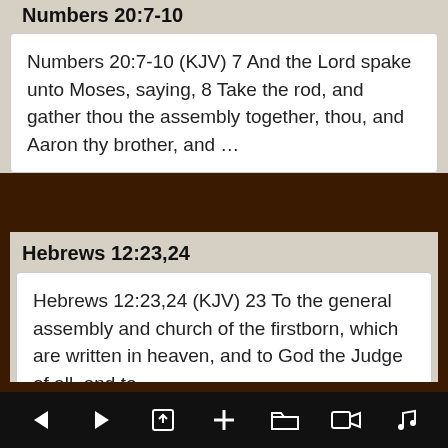Numbers 20:7-10
Numbers 20:7-10 (KJV) 7 And the Lord spake unto Moses, saying, 8 Take the rod, and gather thou the assembly together, thou, and Aaron thy brother, and ...
Hebrews 12:23,24
Hebrews 12:23,24 (KJV) 23 To the general assembly and church of the firstborn, which are written in heaven, and to God the Judge of all, and to ...
Numbers 18:8-10
← → ⬆ + 📁 📹 ♪